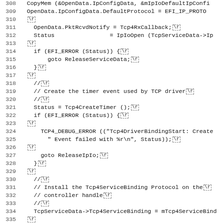Source code listing lines 308-339 showing C/EFI network driver code for TCP4 driver binding start function